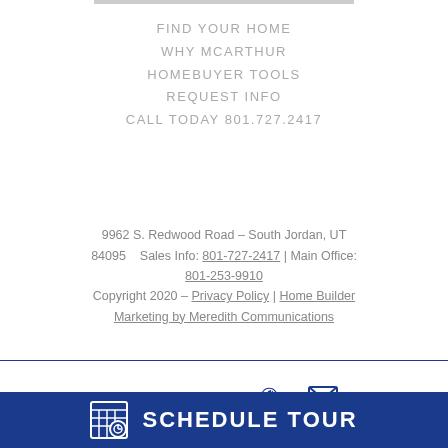FIND YOUR HOME
WHY MCARTHUR
HOMEBUYER TOOLS
REQUEST INFO
CALL TODAY 801.727.2417
9962 S. Redwood Road – South Jordan, UT 84095    Sales Info: 801-727-2417 | Main Office: 801-253-9910
Copyright 2020 – Privacy Policy | Home Builder Marketing by Meredith Communications
QUESTIONS?  CALL  EMAIL
SCHEDULE TOUR